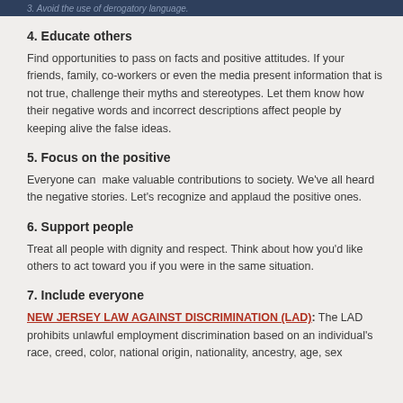3. Avoid the use of derogatory language.
4. Educate others
Find opportunities to pass on facts and positive attitudes. If your friends, family, co-workers or even the media present information that is not true, challenge their myths and stereotypes. Let them know how their negative words and incorrect descriptions affect people by keeping alive the false ideas.
5. Focus on the positive
Everyone can  make valuable contributions to society. We've all heard the negative stories. Let's recognize and applaud the positive ones.
6. Support people
Treat all people with dignity and respect. Think about how you'd like others to act toward you if you were in the same situation.
7. Include everyone
NEW JERSEY LAW AGAINST DISCRIMINATION (LAD): The LAD prohibits unlawful employment discrimination based on an individual's race, creed, color, national origin, nationality, ancestry, age, sex